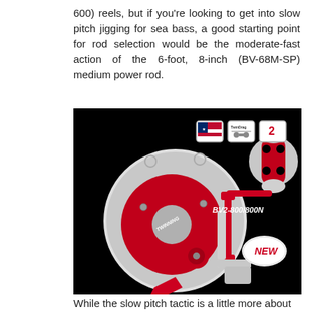600) reels, but if you're looking to get into slow pitch jigging for sea bass, a good starting point for rod selection would be the moderate-fast action of the 6-foot, 8-inch (BV-68M-SP) medium power rod.
[Figure (photo): Product photo of a BV2-800/800N fishing reel on black background. Silver and red colored conventional fishing reel with red handle knob. Three badge icons shown at top (Made in America, TwinDrag, and a number 2 badge). Text 'BV2-800/800N' and 'NEW' badge shown on right side.]
While the slow pitch tactic is a little more about